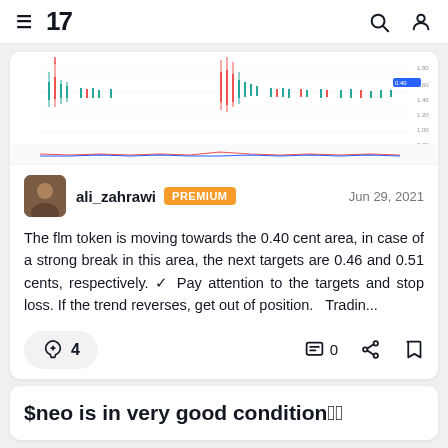TradingView navigation header with hamburger menu, TV logo, search icon, and user icon
[Figure (screenshot): Financial chart screenshot showing candlestick price action with a sharp spike and oscillator indicators below, with price labels on the right axis]
ali_zahrawi PREMIUM
Jun 29, 2021
The flm token is moving towards the 0.40 cent area, in case of a strong break in this area, the next targets are 0.46 and 0.51 cents, respectively. ✔ Pay attention to the targets and stop loss. If the trend reverses, get out of position.   Tradin...
4  0
$neo is in very good condition🟧🟧